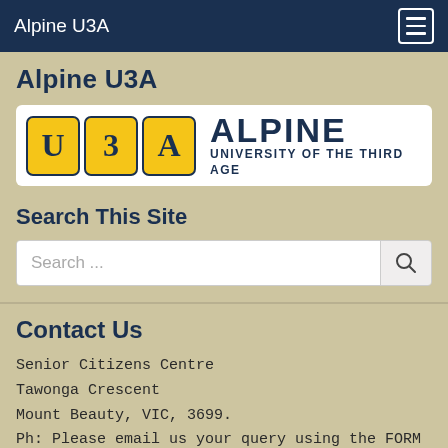Alpine U3A
Alpine U3A
[Figure (logo): Alpine U3A logo with U3A badge letters in yellow rounded boxes and text 'ALPINE UNIVERSITY OF THE THIRD AGE' in dark blue]
Search This Site
Contact Us
Senior Citizens Centre
Tawonga Crescent
Mount Beauty, VIC, 3699.
Ph: Please email us your query using the FORM below..
E: secretary@alpineu3a.org.au